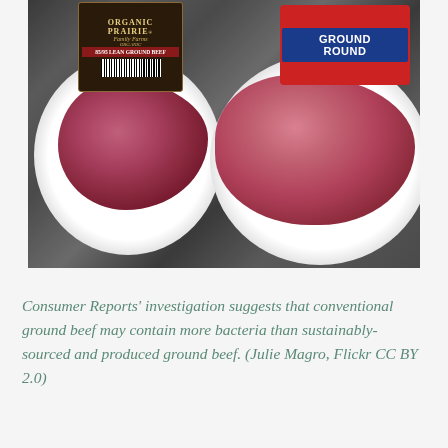[Figure (photo): Two plates of raw ground beef side by side on a dark counter. Left plate has a package labeled 'Organic Prairie 85/95 Lean Ground Beef'. Right plate has a package labeled 'Ground Round'. The left meat is darker red, the right is lighter pink.]
Consumer Reports' investigation suggests that conventional ground beef may contain more bacteria than sustainably-sourced and produced ground beef. (Julie Magro, Flickr CC BY 2.0)